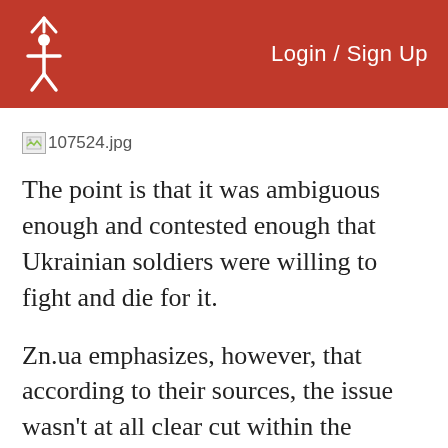Login / Sign Up
[Figure (photo): Broken image placeholder with filename 107524.jpg]
The point is that it was ambiguous enough and contested enough that Ukrainian soldiers were willing to fight and die for it.
Zn.ua emphasizes, however, that according to their sources, the issue wasn’t at all clear cut within the negotiation process that the Ukrainians